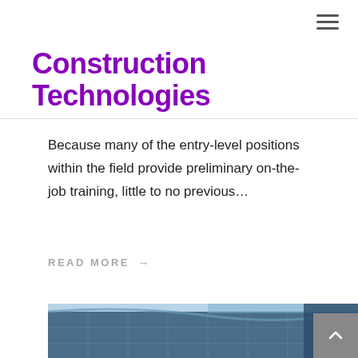Construction Technologies
Because many of the entry-level positions within the field provide preliminary on-the-job training, little to no previous…
READ MORE →
[Figure (photo): Modern curved glass skyscraper building facade photographed from below against a blue sky]